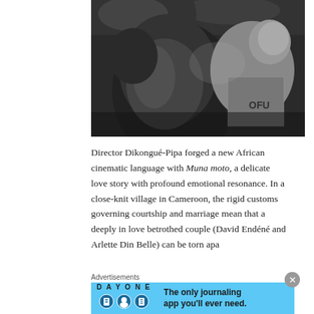[Figure (photo): Black and white photograph of a shirtless muscular man holding a young child (baby/toddler). The child is looking up and appears to be wearing a patterned shirt. The text 'OFU' is partially visible on the child's clothing.]
Director Dikongué-Pipa forged a new African cinematic language with Muna moto, a delicate love story with profound emotional resonance. In a close-knit village in Cameroon, the rigid customs governing courtship and marriage mean that a deeply in love betrothed couple (David Endéné and Arlette Din Belle) can be torn apa...
Advertisements
[Figure (screenshot): Advertisement banner for DAY ONE journaling app on blue background. Shows app icons and text: 'The only journaling app you'll ever need.']